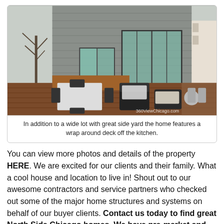[Figure (photo): Outdoor deck/patio area of a modern home with gray horizontal siding, large sliding glass doors, wooden decking, outdoor dining table with chairs, and lounge furniture. Watermark reads 360ViewChicago.com]
In addition to a wide lot with great side yard the home features a wrap around deck off the kitchen.
You can view more photos and details of the property HERE. We are excited for our clients and their family. What a cool house and location to live in! Shout out to our awesome contractors and service partners who checked out some of the major home structures and systems on behalf of our buyer clients. Contact us today to find great North Side Chicago homes. We have pre-market and private listings available. If you need to renovate or sell, call us first!